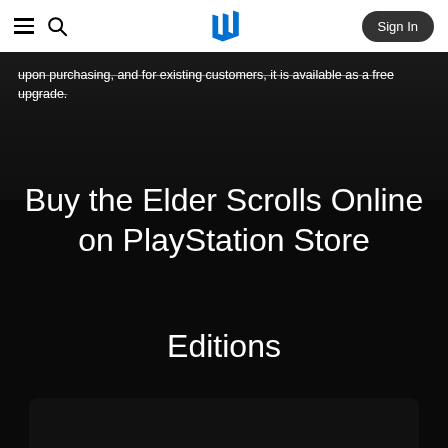PlayStation Store navigation bar with menu, search, PlayStation logo, and Sign In button
upon purchasing, and for existing customers, it is available as a free upgrade.
Buy the Elder Scrolls Online on PlayStation Store
Editions